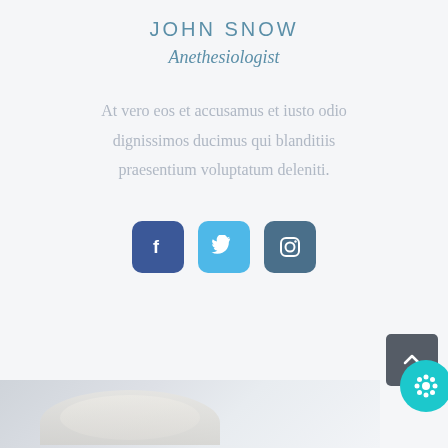JOHN SNOW
Anethesiologist
At vero eos et accusamus et iusto odio dignissimos ducimus qui blanditiis praesentium voluptatum deleniti.
[Figure (other): Social media icon buttons: Facebook (dark blue), Twitter (light blue), Instagram (dark teal-blue)]
[Figure (photo): Partial bottom photo showing a person with white/grey hair, cropped at bottom of page]